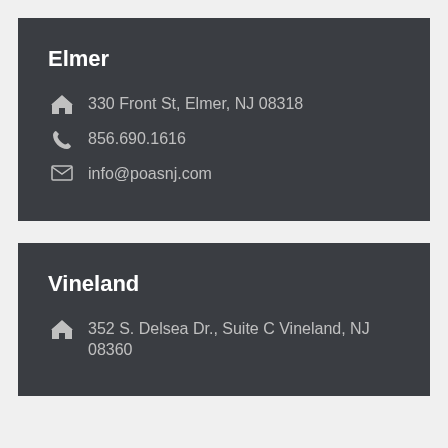Elmer
330 Front St, Elmer, NJ 08318
856.690.1616
info@poasnj.com
Vineland
352 S. Delsea Dr., Suite C Vineland, NJ 08360